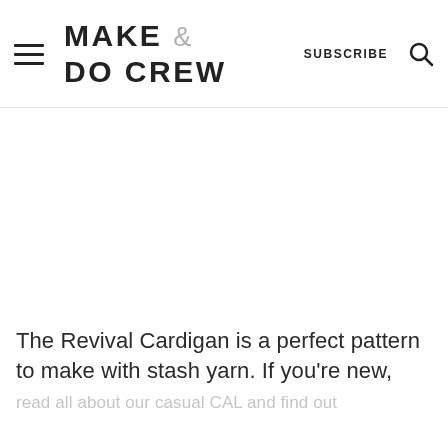MAKE & DO CREW — SUBSCRIBE
The Revival Cardigan is a perfect pattern to make with stash yarn. If you're new,
read all about our casual CAL and find out